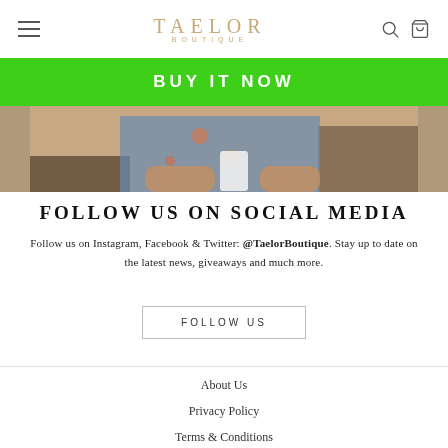TAELOR BOUTIQUE
BUY IT NOW
[Figure (photo): Photo of a person wearing a denim jacket with floral print, holding a white smartphone, partial view of arms and torso]
FOLLOW US ON SOCIAL MEDIA
Follow us on Instagram, Facebook & Twitter: @TaelorBoutique. Stay up to date on the latest news, giveaways and much more.
FOLLOW US
About Us
Privacy Policy
Terms & Conditions